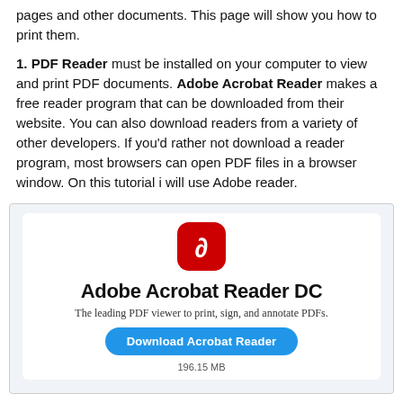pages and other documents. This page will show you how to print them.
1. PDF Reader must be installed on your computer to view and print PDF documents. Adobe Acrobat Reader makes a free reader program that can be downloaded from their website. You can also download readers from a variety of other developers. If you'd rather not download a reader program, most browsers can open PDF files in a browser window. On this tutorial i will use Adobe reader.
[Figure (screenshot): Screenshot of Adobe Acrobat Reader DC download page showing the app icon, title 'Adobe Acrobat Reader DC', subtitle 'The leading PDF viewer to print, sign, and annotate PDFs.', a blue 'Download Acrobat Reader' button, and '196.15 MB' file size text.]